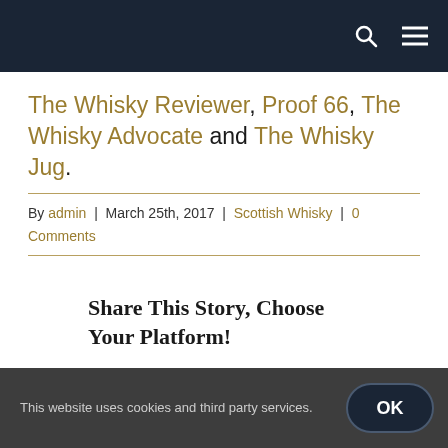Navigation bar with search and menu icons
The Whisky Reviewer, Proof 66, The Whisky Advocate and The Whisky Jug.
By admin | March 25th, 2017 | Scottish Whisky | 0 Comments
Share This Story, Choose Your Platform!
[Figure (other): Social share icons: Facebook, Twitter, LinkedIn, Email]
This website uses cookies and third party services. OK